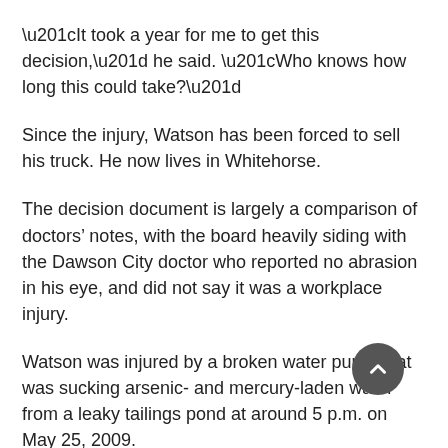“It took a year for me to get this decision,” he said. “Who knows how long this could take?”
Since the injury, Watson has been forced to sell his truck. He now lives in Whitehorse.
The decision document is largely a comparison of doctors’ notes, with the board heavily siding with the Dawson City doctor who reported no abrasion in his eye, and did not say it was a workplace injury.
Watson was injured by a broken water pump that was sucking arsenic- and mercury-laden water from a leaky tailings pond at around 5 p.m. on May 25, 2009.
He was working alone with heavy machinery in the woods